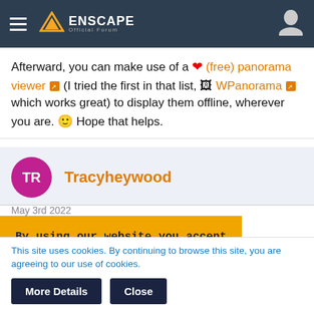[Figure (screenshot): Enscape forum website header with hamburger menu, Enscape logo, and user icon on dark navy background]
Afterward, you can make use of a ❤ (free) panorama viewer (I tried the first in that list, 🖼 WPanorama which works great) to display them offline, wherever you are. 🙂 Hope that helps.
Tracyheywood
May 3rd 2022
Thanks for that!! I'll give it a go
By using our website you accept that we use cookies to track usage and improve the relevancy of ads and may
This site uses cookies. By continuing to browse this site, you are agreeing to our use of cookies.